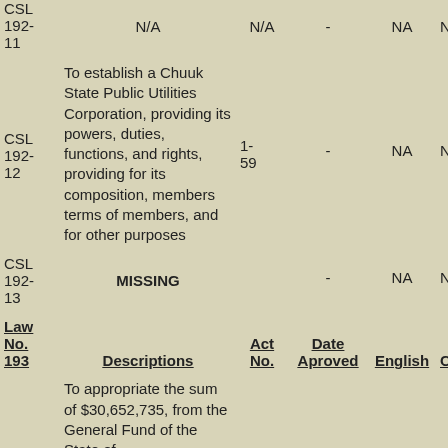| Law No. | Descriptions | Act No. | Date Aproved | English | Chuuk |
| --- | --- | --- | --- | --- | --- |
| CSL 192-11 | N/A | N/A | - | NA | N/A |
| CSL 192-12 | To establish a Chuuk State Public Utilities Corporation, providing its powers, duties, functions, and rights, providing for its composition, members terms of members, and for other purposes | 1-59 | - | NA | N/A |
| CSL 192-13 | MISSING |  | - | NA | N/A |
| Law No. 193 | Descriptions | Act No. | Date Aproved | English | Chuuk |
|  | To appropriate the sum of $30,652,735, from the General Fund of the State of |  |  |  |  |